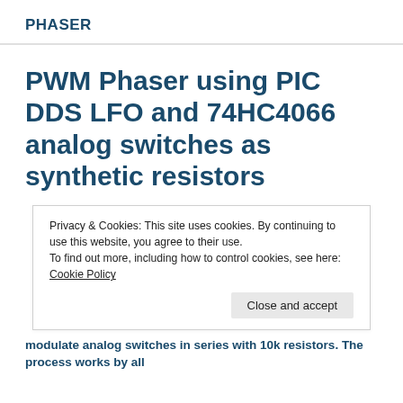PHASER
PWM Phaser using PIC DDS LFO and 74HC4066 analog switches as synthetic resistors
Privacy & Cookies: This site uses cookies. By continuing to use this website, you agree to their use.
To find out more, including how to control cookies, see here: Cookie Policy
Close and accept
modulate analog switches in series with 10k resistors. The process works by ...